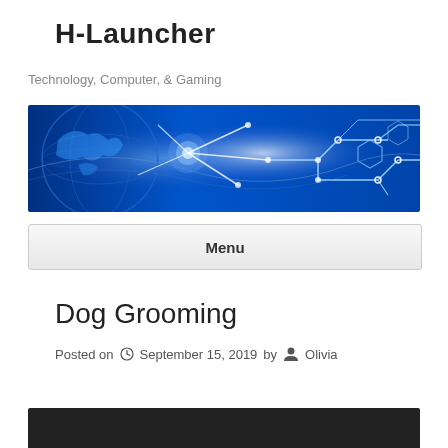H-Launcher
Technology, Computer, & Gaming
[Figure (illustration): Technology banner image showing a digital globe on the left and circuit board network lines glowing blue on dark background]
Menu
Dog Grooming
Posted on September 15, 2019 by Olivia